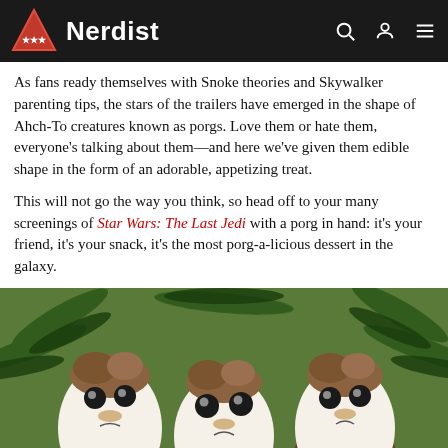Nerdist
As fans ready themselves with Snoke theories and Skywalker parenting tips, the stars of the trailers have emerged in the shape of Ahch-To creatures known as porgs. Love them or hate them, everyone's talking about them—and here we've given them edible shape in the form of an adorable, appetizing treat.
This will not go the way you think, so head off to your many screenings of Star Wars: The Last Jedi with a porg in hand: it's your friend, it's your snack, it's the most porg-a-licious dessert in the galaxy.
[Figure (photo): Three porg-shaped cupcakes/treats made to look like the Star Wars creatures, sitting in brown cupcake wrappers surrounded by green pine branches. The treats have white frosted bodies with brown crumbly topping, black candy eyes, and small decorative details.]